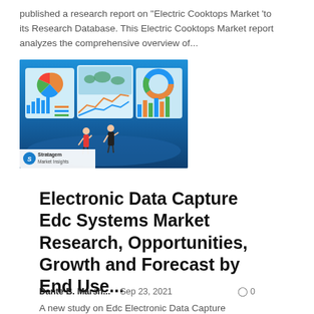published a research report on "Electric Cooktops Market 'to its Research Database. This Electric Cooktops Market report analyzes the comprehensive overview of...
[Figure (illustration): Illustration of a person standing on a futuristic blue platform surrounded by large curved digital screens displaying various charts (pie charts, bar charts, line charts, maps). A Stratagem Market Insights logo is visible in the lower-left corner.]
Electronic Data Capture Edc Systems Market Research, Opportunities, Growth and Forecast by End Use...
Dante B. Marsh...   Sep 23, 2021   ◯ 0
A new study on Edc Electronic Data Capture Systems Market